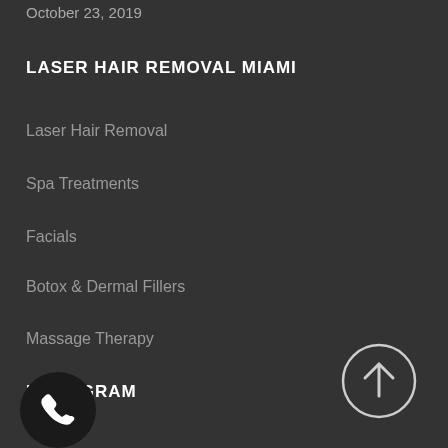October 23, 2019
LASER HAIR REMOVAL MIAMI
Laser Hair Removal
Spa Treatments
Facials
Botox & Dermal Fillers
Massage Therapy
INSTAGRAM
[Figure (illustration): Circular scroll-to-top button with upward arrow on dark background]
[Figure (illustration): Phone call button - dark circle with white phone handset icon]